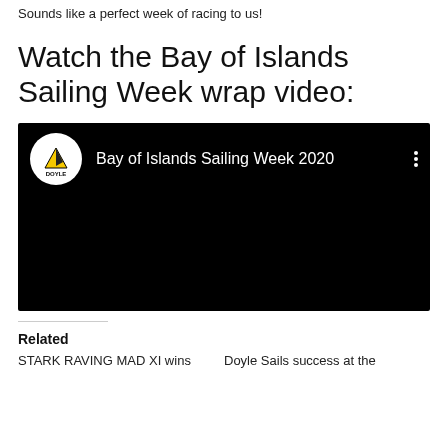Sounds like a perfect week of racing to us!
Watch the Bay of Islands Sailing Week wrap video:
[Figure (screenshot): Embedded YouTube video player showing 'Bay of Islands Sailing Week 2020' with Doyle Sails logo on black background]
Related
STARK RAVING MAD XI wins
Doyle Sails success at the